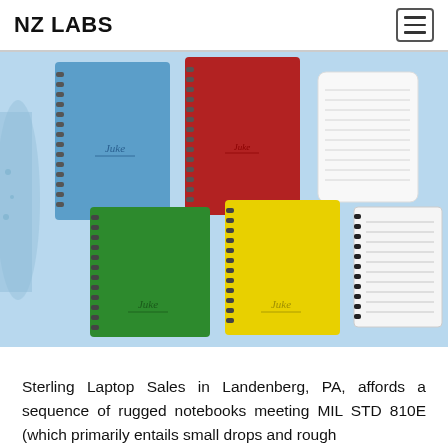NZ LABS
[Figure (photo): Multiple spiral-bound notebooks in various colors (blue, red, white, green, yellow) shown against a light blue background, with an open notebook showing lined pages on the right side]
Sterling Laptop Sales in Landenberg, PA, affords a sequence of rugged notebooks meeting MIL STD 810E (which primarily entails small drops and rough